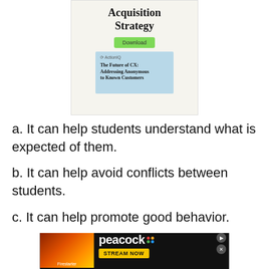[Figure (other): Advertisement banner for ActionIQ Acquisition Strategy download. Shows a green Download button, a light blue book cover area with title 'The Future of CX: Addressing Anonymous to Known Customers' and ActionIQ logo.]
a. It can help students understand what is expected of them.
b. It can help avoid conflicts between students.
c. It can help promote good behavior.
[Figure (other): Advertisement banner for Peacock streaming service featuring Firestarter movie promotional image on the left and Peacock logo with 'STREAM NOW' button on right.]